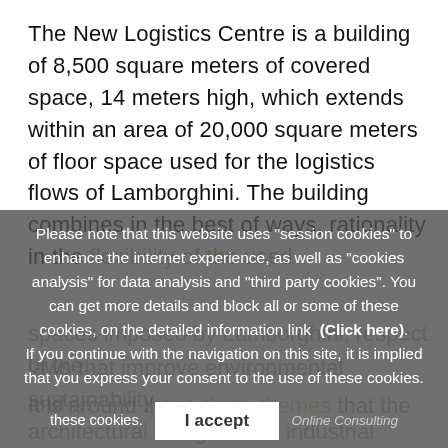The New Logistics Centre is a building of 8,500 square meters of covered space, 14 meters high, which extends within an area of 20,000 square meters of floor space used for the logistics flows of Lamborghini. The building combines in the best of ways, rationality in the flexibility of the used spaces imposed by Lamborghini, respect of the laws that improve environmental sustainability, and … It is around these three themes that the architectural design of the industrial building was developed and it draws on the construction of strength, character, and performance of Lamborghini style, using sharp and decisive
Please note that this website uses "session cookies" to enhance the internet experience, as well as "cookies analysis" for data analysis and "third party cookies". You can get more details and block all or some of these cookies, on the detailed information link (Click here). If you continue with the navigation on this site, it is implied that you express your consent to the use of these cookies. I accept Online Consulting